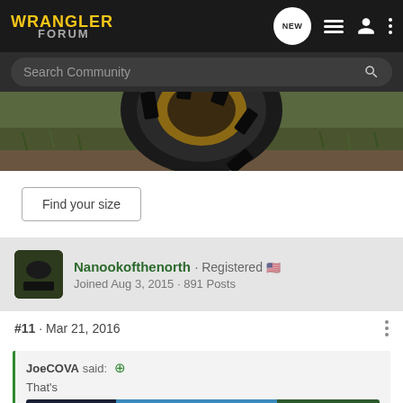WRANGLER FORUM
Search Community
[Figure (photo): Close-up photo of a large off-road tire with muddy terrain and grass in background]
Find your size
Nanookofthenorth · Registered 🇺🇸 Joined Aug 3, 2015 · 891 Posts
#11 · Mar 21, 2016
JoeCOVA said: That's
[Figure (screenshot): Overland Expo East 2022 advertisement banner - October 7-9, Arrington, VA - Plan Your Adventure]